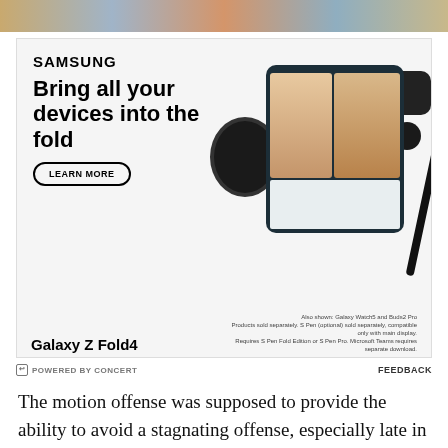[Figure (photo): Top strip showing partial view of people gathered around a table]
[Figure (photo): Samsung Galaxy Z Fold4 advertisement showing the device with video call on screen, Galaxy Watch5, Buds2 Pro, and S Pen. Headline: Bring all your devices into the fold. LEARN MORE button. Also shown: Galaxy Watch5 and Buds2 Pro. Products sold separately. S Pen (optional) sold separately, compatible only with main display. Requires S Pen Fold Edition or S Pen Pro. Microsoft Teams requires separate download.]
POWERED BY CONCERT    FEEDBACK
The motion offense was supposed to provide the ability to avoid a stagnating offense, especially late in games. But recently in the fourth quarter, the Hawks have